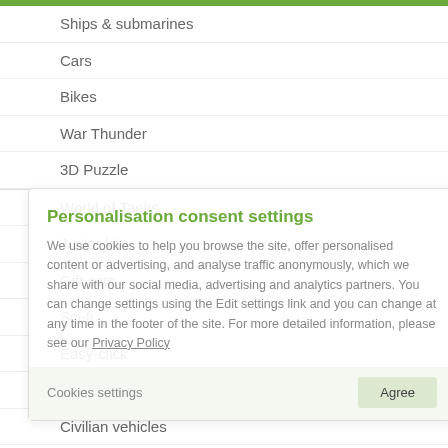Ships & submarines
Cars
Bikes
War Thunder
3D Puzzle
World of Tanks
Junior kit
Gift sets
Sci-fi
Easy-click
World of Warships
Civilian vehicles
Space
Resin kits
Accessories
Figures
Personalisation consent settings
We use cookies to help you browse the site, offer personalised content or advertising, and analyse traffic anonymously, which we share with our social media, advertising and analytics partners. You can change settings using the Edit settings link and you can change at any time in the footer of the site. For more detailed information, please see our Privacy Policy
Cookies settings
Agree